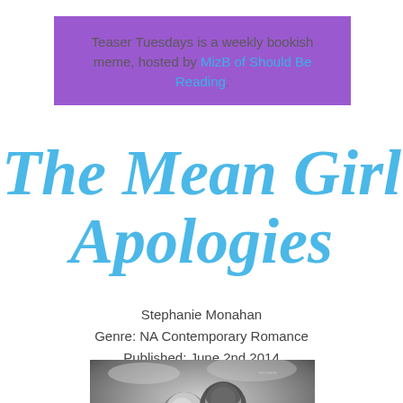Teaser Tuesdays is a weekly bookish meme, hosted by MizB of Should Be Reading.
The Mean Girl Apologies
Stephanie Monahan
Genre: NA Contemporary Romance
Published: June 2nd 2014
[Figure (photo): Black and white photo of a couple, a woman and a man with dark curly hair, in a romantic pose against a cloudy background.]